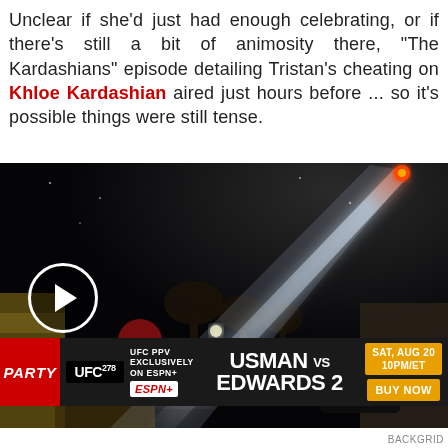Unclear if she'd just had enough celebrating, or if there's still a bit of animosity there, "The Kardashians" episode detailing Tristan's cheating on Khloe Kardashian aired just hours before ... so it's possible things were still tense.
[Figure (photo): Nighttime outdoor scene showing a bright rocket or missile launch streak across a dark sky, with palm trees and buildings silhouetted below. A play button overlay appears on the lower left. An advertisement banner at the bottom promotes UFC 278 PPV: Usman vs Edwards 2, Sat Aug 20, 10PM/ET, exclusively on ESPN+. A 'PARTY' label appears in red on the far left.]
BACKGRID